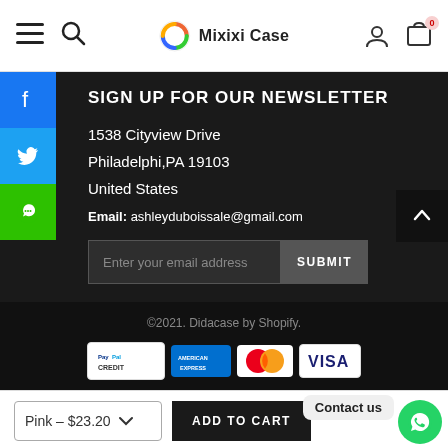Mixixi Case — navigation header with hamburger menu, search, logo, account, and cart (0)
SIGN UP FOR OUR NEWSLETTER
1538 Cityview Drive
Philadelphi,PA 19103
United States
ail: ashleyduboissale@gmail.com
Enter your email address
SUBMIT
©2021. Didacase by Shopify.
[Figure (infographic): Payment method logos: PayPal Credit, American Express, MasterCard, Visa]
Pink – $23.20
ADD TO CART
Contact us